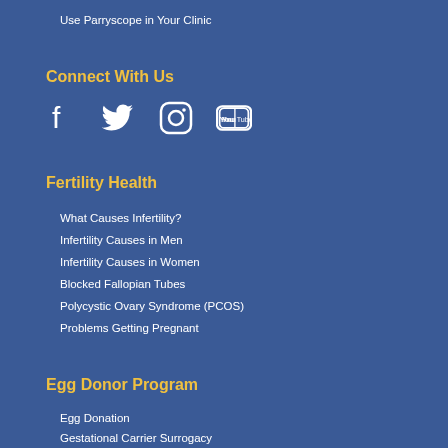Use Parryscope in Your Clinic
Connect With Us
[Figure (infographic): Social media icons: Facebook, Twitter, Instagram, YouTube]
Fertility Health
What Causes Infertility?
Infertility Causes in Men
Infertility Causes in Women
Blocked Fallopian Tubes
Polycystic Ovary Syndrome (PCOS)
Problems Getting Pregnant
Egg Donor Program
Egg Donation
Gestational Carrier Surrogacy